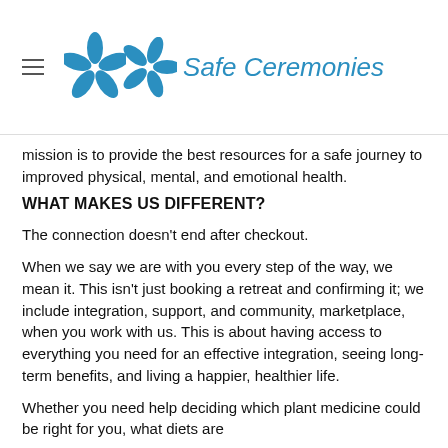Safe Ceremonies
mission is to provide the best resources for a safe journey to improved physical, mental, and emotional health.
WHAT MAKES US DIFFERENT?
The connection doesn't end after checkout.
When we say we are with you every step of the way, we mean it. This isn't just booking a retreat and confirming it; we include integration, support, and community, marketplace, when you work with us. This is about having access to everything you need for an effective integration, seeing long-term benefits, and living a happier, healthier life.
Whether you need help deciding which plant medicine could be right for you, what diets are